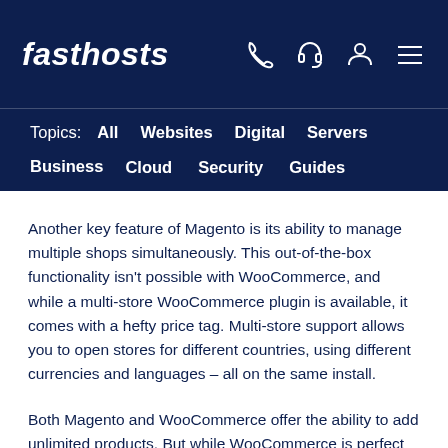fasthosts
Topics: All  Websites  Digital  Servers  Business  Cloud  Security  Guides
Another key feature of Magento is its ability to manage multiple shops simultaneously. This out-of-the-box functionality isn't possible with WooCommerce, and while a multi-store WooCommerce plugin is available, it comes with a hefty price tag. Multi-store support allows you to open stores for different countries, using different currencies and languages – all on the same install.
Both Magento and WooCommerce offer the ability to add unlimited products. But while WooCommerce is perfect for many small to medium stores, the Magento feature set